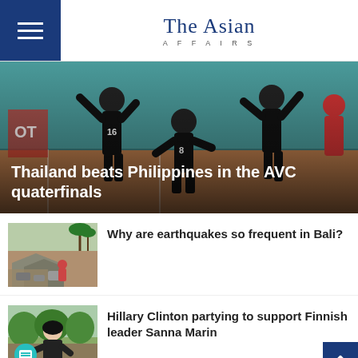The Asian Affairs
[Figure (photo): Volleyball players on court, Thailand beats Philippines in the AVC quaterfinals]
Thailand beats Philippines in the AVC quaterfinals
[Figure (photo): Earthquake aftermath in Bali, rubble and people]
Why are earthquakes so frequent in Bali?
[Figure (photo): Woman outdoors, Hillary Clinton partying to support Finnish leader Sanna Marin]
Hillary Clinton partying to support Finnish leader Sanna Marin